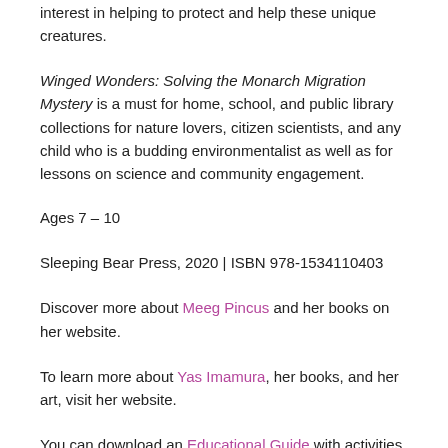interest in helping to protect and help these unique creatures.
Winged Wonders: Solving the Monarch Migration Mystery is a must for home, school, and public library collections for nature lovers, citizen scientists, and any child who is a budding environmentalist as well as for lessons on science and community engagement.
Ages 7 – 10
Sleeping Bear Press, 2020 | ISBN 978-1534110403
Discover more about Meeg Pincus and her books on her website.
To learn more about Yas Imamura, her books, and her art, visit her website.
You can download an Educational Guide with activities for Winged Wonders on the Sleeping Bear Press website.